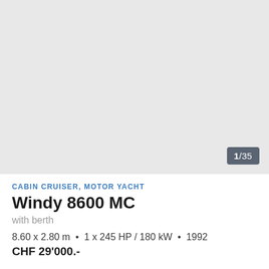[Figure (photo): Top listing image placeholder, light gray background with image counter badge '1/35']
CABIN CRUISER, MOTOR YACHT
Windy 8600 MC
with berth
8.60 x 2.80 m  •  1 x 245 HP / 180 kW  •  1992
CHF 29'000.-
[Figure (photo): Bottom listing image placeholder, light gray background with star/favorite icon in top right corner]